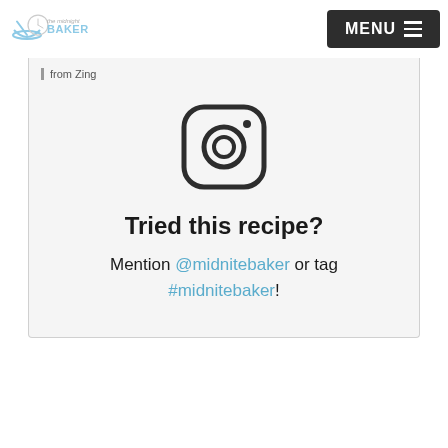The Midnight Baker | MENU
from Zing
[Figure (logo): Instagram logo icon — rounded square with camera outline]
Tried this recipe?
Mention @midnitebaker or tag #midnitebaker!